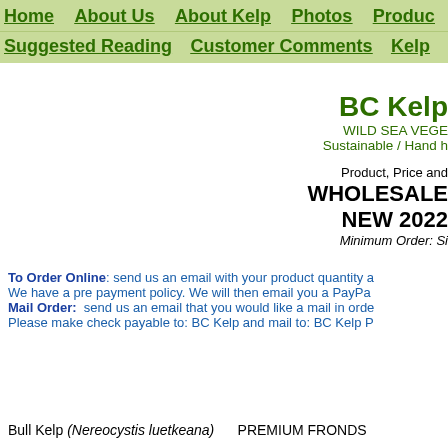Home   About Us   About Kelp   Photos   Produc
Suggested Reading   Customer Comments   Kelp
BC Kelp
WILD SEA VEGE
Sustainable / Hand h
Product, Price and
WHOLESALE NEW 2022
Minimum Order: Si
To Order Online: send us an email with your product quantity a We have a pre payment policy. We will then email you a PayPa Mail Order:  send us an email that you would like a mail in orde Please make check payable to: BC Kelp and mail to: BC Kelp P
Bull Kelp (Nereocystis luetkeana)   PREMIUM FRONDS